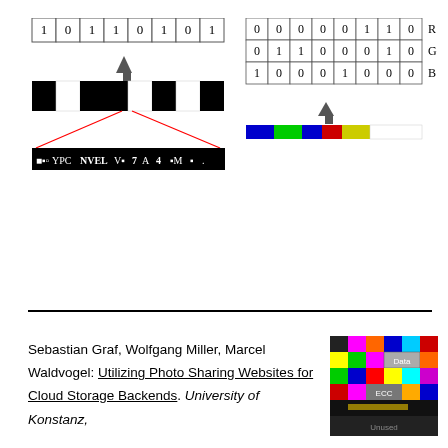[Figure (schematic): Left diagram: binary row '1 0 1 1 0 1 0 1' with an arrow pointing up from a black-and-white pixel bar, with red lines forming a triangle to a noisy text bar below. Right diagram: 3x8 binary matrix with R/G/B labels, an arrow pointing up from a color bar (blue, green, blue, red, yellow segments).]
Sebastian Graf, Wolfgang Miller, Marcel Waldvogel: Utilizing Photo Sharing Websites for Cloud Storage Backends. University of Konstanz,
[Figure (photo): Colorful grid image with Data and ECC labels, resembling a color-coded data storage visualization.]